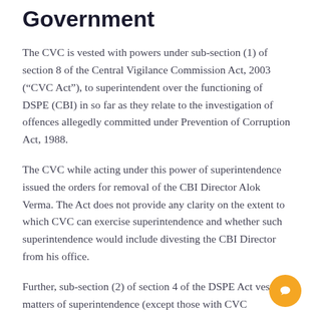Government
The CVC is vested with powers under sub-section (1) of section 8 of the Central Vigilance Commission Act, 2003 (“CVC Act”), to superintendent over the functioning of DSPE (CBI) in so far as they relate to the investigation of offences allegedly committed under Prevention of Corruption Act, 1988.
The CVC while acting under this power of superintendence issued the orders for removal of the CBI Director Alok Verma. The Act does not provide any clarity on the extent to which CVC can exercise superintendence and whether such superintendence would include divesting the CBI Director from his office.
Further, sub-section (2) of section 4 of the DSPE Act vests all matters of superintendence (except those with CVC under the Prevention of Corruption Act, 1988) in the